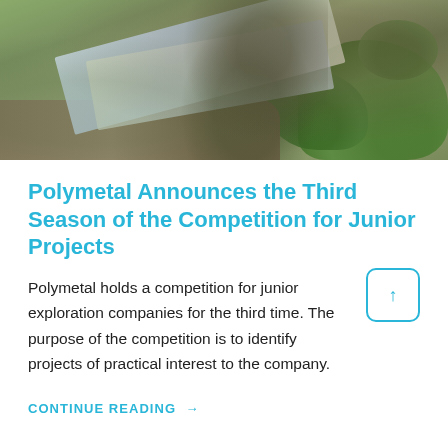[Figure (photo): Person in camouflage clothing holding a large map outdoors in a rocky, shrubby landscape]
Polymetal Announces the Third Season of the Competition for Junior Projects
Polymetal holds a competition for junior exploration companies for the third time. The purpose of the competition is to identify projects of practical interest to the company.
CONTINUE READING →